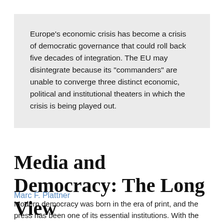Europe's economic crisis has become a crisis of democratic governance that could roll back five decades of integration. The EU may disintegrate because its “commanders” are unable to converge three distinct economic, political and institutional theaters in which the crisis is being played out.
Media and Democracy: The Long View
Marc F. Plattner
Modern democracy was born in the era of print, and the press has been one of its essential institutions. With the decline of